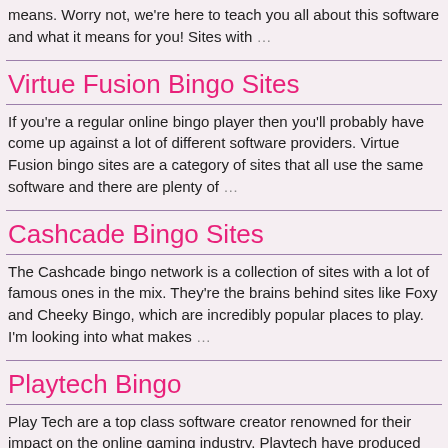means. Worry not, we're here to teach you all about this software and what it means for you! Sites with …
Virtue Fusion Bingo Sites
If you're a regular online bingo player then you'll probably have come up against a lot of different software providers. Virtue Fusion bingo sites are a category of sites that all use the same software and there are plenty of …
Cashcade Bingo Sites
The Cashcade bingo network is a collection of sites with a lot of famous ones in the mix. They're the brains behind sites like Foxy and Cheeky Bingo, which are incredibly popular places to play. I'm looking into what makes …
Playtech Bingo
Play Tech are a top class software creator renowned for their impact on the online gaming industry. Playtech have produced